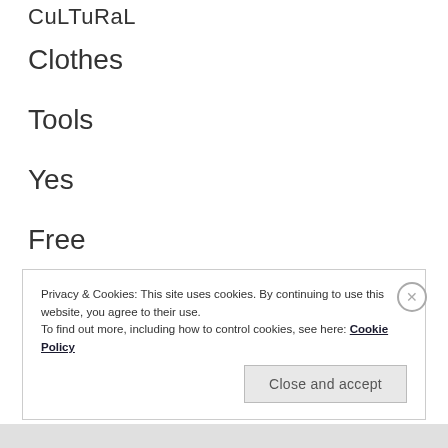CuLTuRaL
Clothes
Tools
Yes
Free
To
Privacy & Cookies: This site uses cookies. By continuing to use this website, you agree to their use.
To find out more, including how to control cookies, see here: Cookie Policy
Close and accept